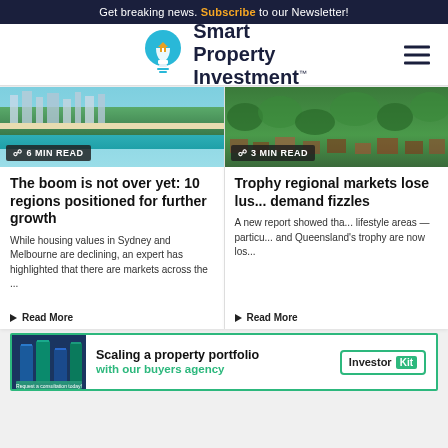Get breaking news. Subscribe to our Newsletter!
[Figure (logo): Smart Property Investment logo with lightbulb icon and hamburger menu]
[Figure (photo): Aerial photo of coastal city with buildings and beach — 6 MIN READ badge]
The boom is not over yet: 10 regions positioned for further growth
While housing values in Sydney and Melbourne are declining, an expert has highlighted that there are markets across the ...
▶ Read More
[Figure (photo): Aerial photo of suburban green area with rooftops — 3 MIN READ badge]
Trophy regional markets lose lus... demand fizzles
A new report showed tha... lifestyle areas — particu... and Queensland's trophy are now los...
▶ Read More
[Figure (infographic): Advertisement banner: Scaling a property portfolio with our buyers agency — Investor Kit]